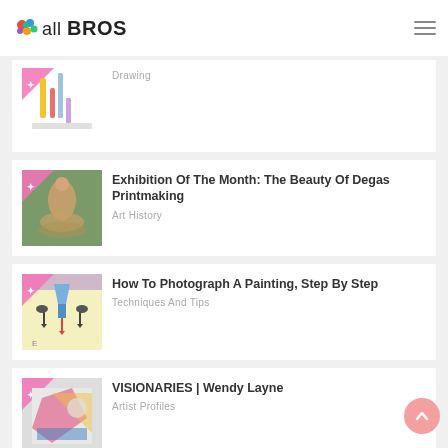all BROS
[Figure (photo): Thumbnail image partially visible, showing drawing supplies, cropped at top]
Drawing
[Figure (photo): Thumbnail of a Degas painting showing a ballerina in a brown dress]
Exhibition Of The Month: The Beauty Of Degas Printmaking
Art History
[Figure (illustration): Thumbnail showing a diagram of how to photograph a painting, step by step]
How To Photograph A Painting, Step By Step
Techniques And Tips
[Figure (photo): Thumbnail showing Wendy Layne artwork with colorful geometric shapes]
VISIONARIES | Wendy Layne
Artist Profiles